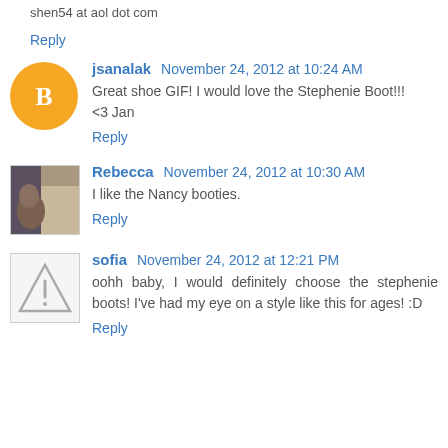shen54 at aol dot com
Reply
jsanalak  November 24, 2012 at 10:24 AM
Great shoe GIF! I would love the Stephenie Boot!!! <3 Jan
Reply
Rebecca  November 24, 2012 at 10:30 AM
I like the Nancy booties.
Reply
sofia  November 24, 2012 at 12:21 PM
oohh baby, I would definitely choose the stephenie boots! I've had my eye on a style like this for ages! :D
Reply